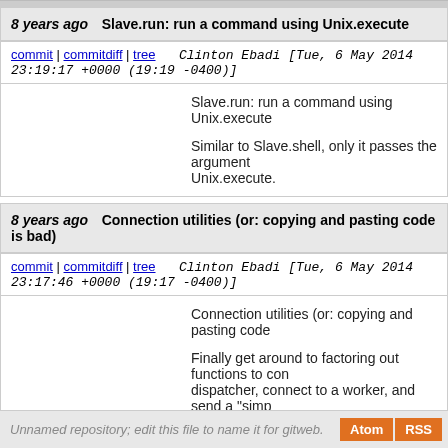8 years ago   Slave.run: run a command using Unix.execute
commit | commitdiff | tree   Clinton Ebadi [Tue, 6 May 2014 23:19:17 +0000 (19:19 -0400)]
Slave.run: run a command using Unix.execute

Similar to Slave.shell, only it passes the arguments to Unix.execute.
8 years ago   Connection utilities (or: copying and pasting code is bad)
commit | commitdiff | tree   Clinton Ebadi [Tue, 6 May 2014 23:17:46 +0000 (19:17 -0400)]
Connection utilities (or: copying and pasting code

Finally get around to factoring out functions to connect to a dispatcher, connect to a worker, and send a "simple" message to workers (one where MsgOk/MsgError are the only...
next
Unnamed repository; edit this file to name it for gitweb.